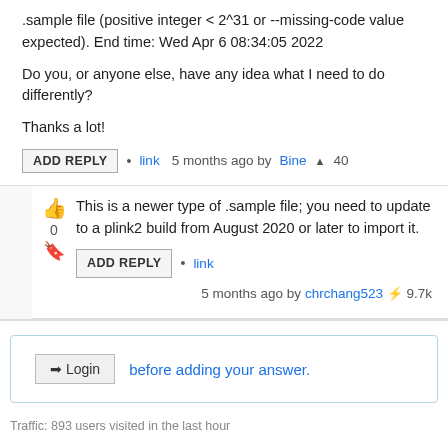.sample file (positive integer < 2^31 or --missing-code value expected). End time: Wed Apr 6 08:34:05 2022
Do you, or anyone else, have any idea what I need to do differently?
Thanks a lot!
ADD REPLY • link   5 months ago by Bine ▲ 40
This is a newer type of .sample file; you need to update to a plink2 build from August 2020 or later to import it.
ADD REPLY • link   5 months ago by chrchang523 ⚡ 9.7k
Login before adding your answer.
Traffic: 893 users visited in the last hour